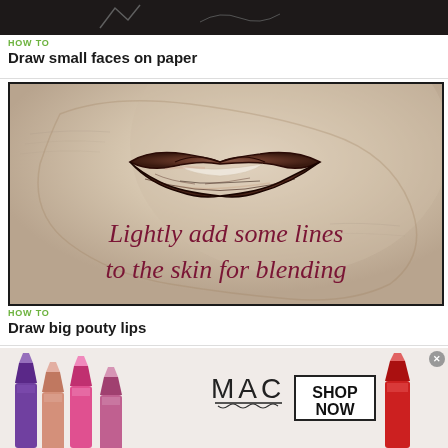[Figure (photo): Partial pencil sketch of small faces on paper, dark toned image cropped at top]
HOW TO
Draw small faces on paper
[Figure (photo): Pencil sketch of pouty lips with text overlay reading 'Lightly add some lines to the skin for blending' in dark red italic script]
HOW TO
Draw big pouty lips
[Figure (photo): MAC cosmetics advertisement showing lipsticks on left, MAC logo in center, SHOP NOW button, and red lipstick on right]